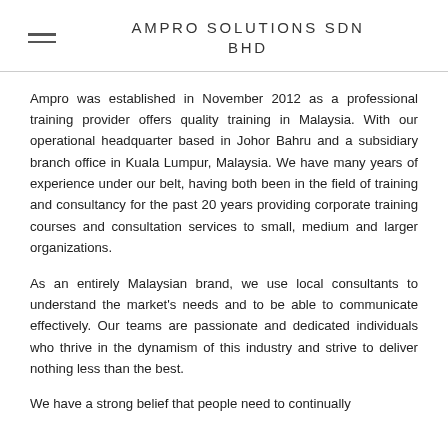AMPRO SOLUTIONS SDN BHD
Ampro was established in November 2012 as a professional training provider offers quality training in Malaysia.  With our operational headquarter based in Johor Bahru and a subsidiary branch office in Kuala Lumpur, Malaysia.  We have many years of experience under our belt, having both been in the field of training and consultancy for the past 20 years providing corporate training courses and consultation services to small, medium and larger organizations.
As an entirely Malaysian brand, we use local consultants to understand the market's needs and to be able to communicate effectively.  Our teams are passionate and dedicated individuals who thrive in the dynamism of this industry and strive to deliver nothing less than the best.
We have a strong belief that people need to continually